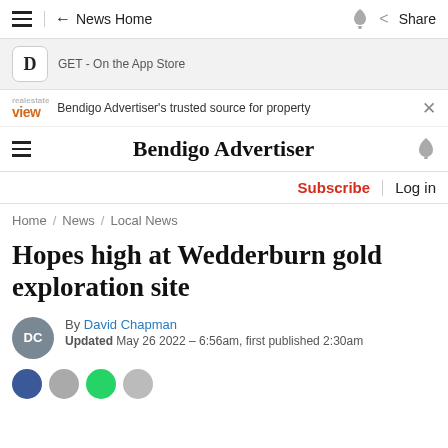News Home  Share
GET - On the App Store
Bendigo Advertiser's trusted source for property
Bendigo Advertiser
Subscribe  Log in
Home / News / Local News
Hopes high at Wedderburn gold exploration site
By David Chapman  Updated May 26 2022 – 6:56am, first published 2:30am